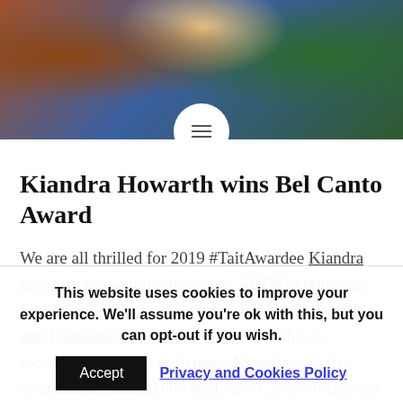[Figure (photo): Banner photo of a person holding a glass award trophy, wearing a blue outfit, with flowers in the background]
Kiandra Howarth wins Bel Canto Award
We are all thrilled for 2019 #TaitAwardee Kiandra Howarth for winning this years AUD$30,000 Joan Sutherland & Richard Bonynge Bel Canto Award and Foundation #BelCantoAward which was recently announced in Sydney. Kiandra was also awarded the AUD$1000 Audience Choice Prize, and was also placed
This website uses cookies to improve your experience. We'll assume you're ok with this, but you can opt-out if you wish. Accept Privacy and Cookies Policy